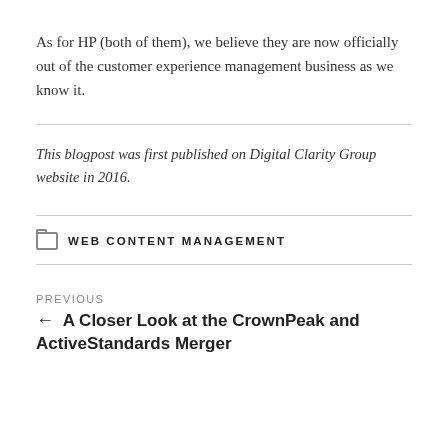As for HP (both of them), we believe they are now officially out of the customer experience management business as we know it.
This blogpost was first published on Digital Clarity Group website in 2016.
WEB CONTENT MANAGEMENT
PREVIOUS
← A Closer Look at the CrownPeak and ActiveStandards Merger